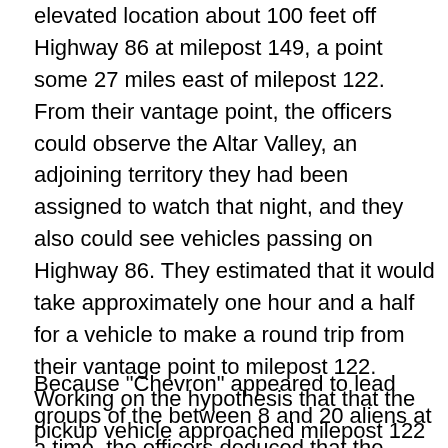About 7 a.m., they and Evans parked their patrol car on an elevated location about 100 feet off Highway 86 at milepost 149, a point some 27 miles east of milepost 122. From their vantage point, the officers could observe the Altar Valley, an adjoining territory they had been assigned to watch that night, and they also could see vehicles passing on Highway 86. They estimated that it would take approximately one hour and a half for a vehicle to make a round trip from their vantage point to milepost 122. Working on the hypothesis that that the pickup vehicle approached milepost 122 from the east and thereafter returned to its starting point, they focused upon vehicles that passed them from the east [449 U.S. 411, 415]  and, after about one hour and a half, passed them returning to the east.
Because "Chevron" appeared to lead groups of the between 8 and 20 aliens at a time, the officers deduced that the pickup vehicle would be one that was capable of carrying that large a group without arousing suspicion. For this reason, and